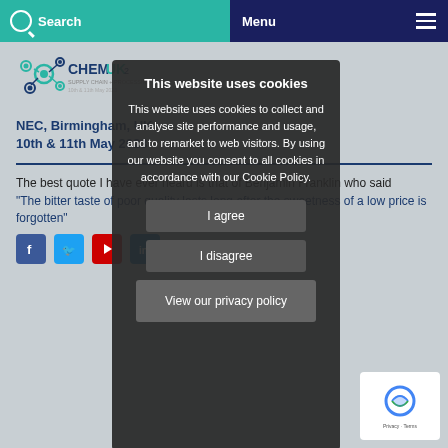Search   Menu
[Figure (logo): ChemUK logo with molecule graphic and text 'SUPPLY CHAIN + PROCESSING']
NEC, Birmingham, UK
10th & 11th May 2023
The best quote I have ever heard is that of Benjamin Franklin who said "The bitter taste of poor quality lasts long after the sweetness of a low price is forgotten"
This website uses cookies
This website uses cookies to collect and analyse site performance and usage, and to remarket to web visitors. By using our website you consent to all cookies in accordance with our Cookie Policy.
I agree
I disagree
View our privacy policy